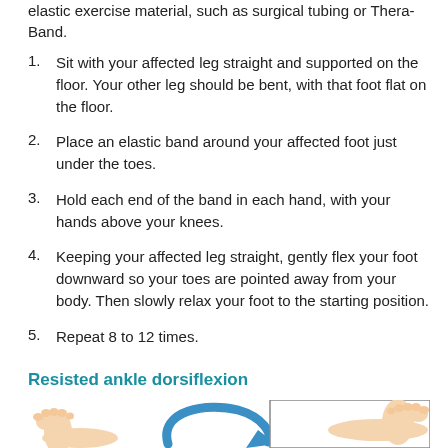elastic exercise material, such as surgical tubing or Thera-Band.
Sit with your affected leg straight and supported on the floor. Your other leg should be bent, with that foot flat on the floor.
Place an elastic band around your affected foot just under the toes.
Hold each end of the band in each hand, with your hands above your knees.
Keeping your affected leg straight, gently flex your foot downward so your toes are pointed away from your body. Then slowly relax your foot to the starting position.
Repeat 8 to 12 times.
Resisted ankle dorsiflexion
[Figure (illustration): Illustration showing ankle dorsiflexion exercise with feet and a circular arrow indicating foot movement direction]